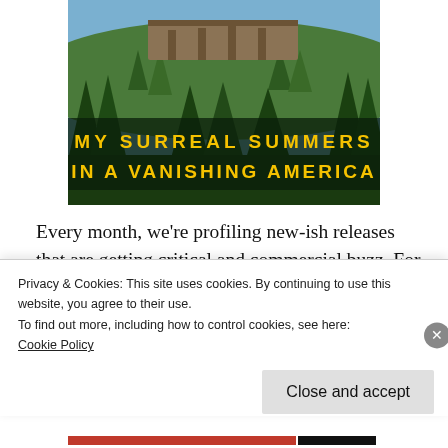[Figure (illustration): Book cover showing 'My Surreal Summers in a Vanishing America' with illustrated forest scene featuring pine trees and a structure in background. Title text in bold yellow letters on dark green background.]
Every month, we're profiling new-ish releases that are getting critical and commercial buzz. For October, we're looking at a family epic tinged with magical realism, a YA novel perfect for
Privacy & Cookies: This site uses cookies. By continuing to use this website, you agree to their use.
To find out more, including how to control cookies, see here:
Cookie Policy
Close and accept